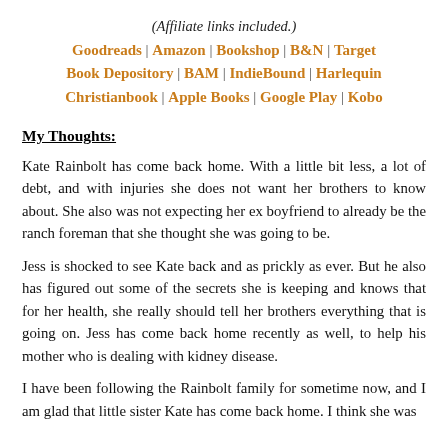(Affiliate links included.)
Goodreads | Amazon | Bookshop | B&N | Target Book Depository | BAM | IndieBound | Harlequin Christianbook | Apple Books | Google Play | Kobo
My Thoughts:
Kate Rainbolt has come back home. With a little bit less, a lot of debt, and with injuries she does not want her brothers to know about. She also was not expecting her ex boyfriend to already be the ranch foreman that she thought she was going to be.
Jess is shocked to see Kate back and as prickly as ever. But he also has figured out some of the secrets she is keeping and knows that for her health, she really should tell her brothers everything that is going on. Jess has come back home recently as well, to help his mother who is dealing with kidney disease.
I have been following the Rainbolt family for sometime now, and I am glad that little sister Kate has come back home. I think she was